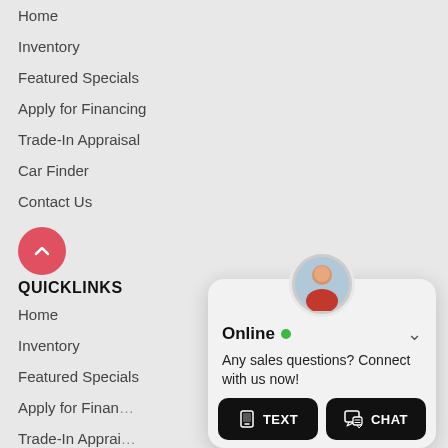Home
Inventory
Featured Specials
Apply for Financing
Trade-In Appraisal
Car Finder
Contact Us
[Figure (illustration): Red circular back-to-top button with upward chevron arrow]
QUICKLINKS
Home
Inventory
Featured Specials
Apply for Finan…
Trade-In Apprai…
Car Finder
Contact Us
[Figure (screenshot): Online chat popup with avatar, Online status indicator, message 'Any sales questions? Connect with us now!', TEXT and CHAT buttons]